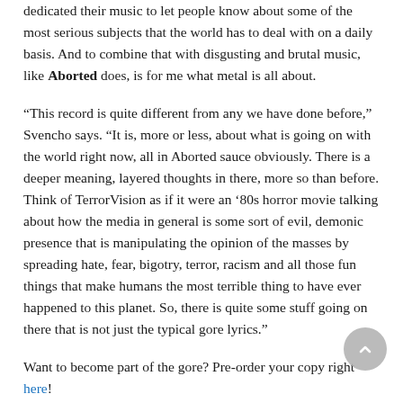dedicated their music to let people know about some of the most serious subjects that the world has to deal with on a daily basis. And to combine that with disgusting and brutal music, like Aborted does, is for me what metal is all about.
“This record is quite different from any we have done before,” Svencho says. “It is, more or less, about what is going on with the world right now, all in Aborted sauce obviously. There is a deeper meaning, layered thoughts in there, more so than before. Think of TerrorVision as if it were an ‘80s horror movie talking about how the media in general is some sort of evil, demonic presence that is manipulating the opinion of the masses by spreading hate, fear, bigotry, terror, racism and all those fun things that make humans the most terrible thing to have ever happened to this planet. So, there is quite some stuff going on there that is not just the typical gore lyrics.”
Want to become part of the gore? Pre-order your copy right here!